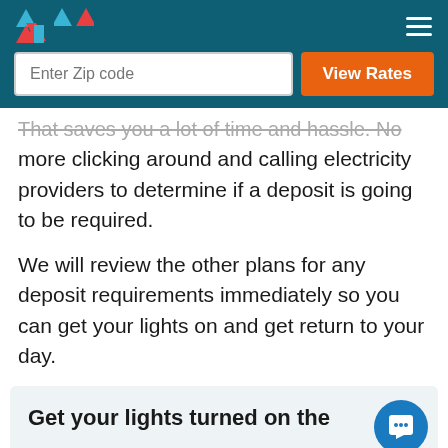That saves you a lot of time and hassle. No more clicking around and calling electricity providers to determine if a deposit is going to be required.
We will review the other plans for any deposit requirements immediately so you can get your lights on and get return to your day.
Get your lights turned on the